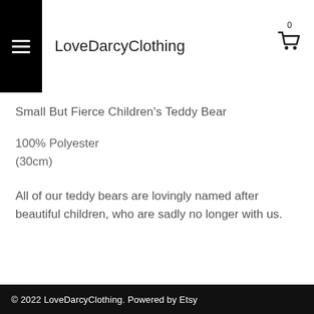LoveDarcyClothing
Small But Fierce Children's Teddy Bear
100% Polyester
(30cm)
All of our teddy bears are lovingly named after beautiful children, who are sadly no longer with us.
© 2022 LoveDarcyClothing. Powered by Etsy